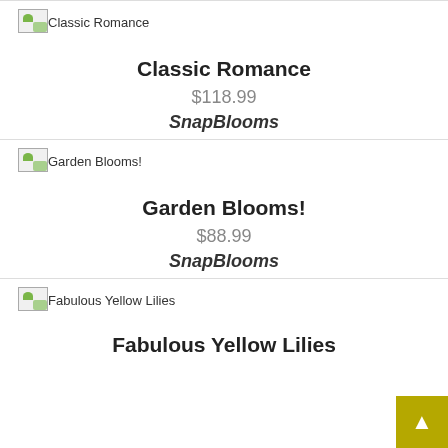[Figure (photo): Product image placeholder for Classic Romance]
Classic Romance
$118.99
SnapBlooms
[Figure (photo): Product image placeholder for Garden Blooms!]
Garden Blooms!
$88.99
SnapBlooms
[Figure (photo): Product image placeholder for Fabulous Yellow Lilies]
Fabulous Yellow Lilies